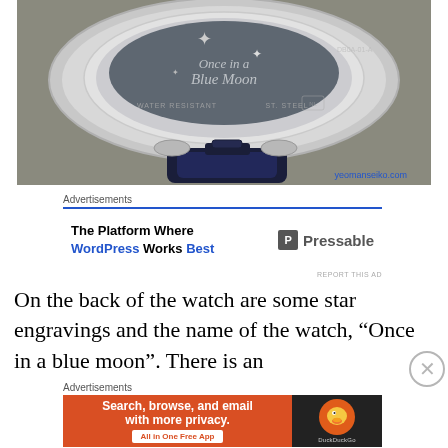[Figure (photo): Close-up photo of the back of a watch showing star engravings and text 'Once in a Blue Moon', 'WATER RESISTANT ST. STEEL', with a navy blue leather strap. Credit: yeomanseiko.com]
Advertisements
[Figure (screenshot): Advertisement for Pressable: 'The Platform Where WordPress Works Best' with Pressable logo]
REPORT THIS AD
On the back of the watch are some star engravings and the name of the watch, “Once in a blue moon”. There is an
Advertisements
[Figure (screenshot): Advertisement for DuckDuckGo: 'Search, browse, and email with more privacy. All in One Free App' with DuckDuckGo duck logo on dark background]